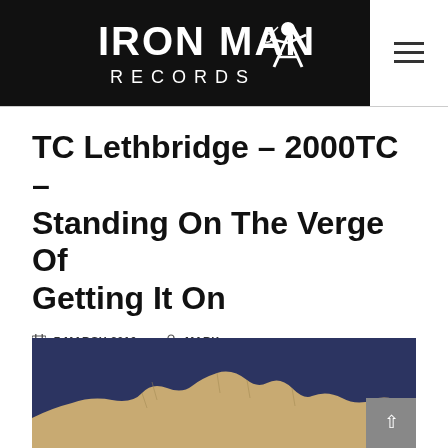[Figure (logo): Iron Man Records logo — white text on black background with a figure holding a guitar]
TC Lethbridge – 2000TC – Standing On The Verge Of Getting It On
7 MARCH 2016   MARK
[Figure (photo): Album cover image with dark navy background showing a mountainous or rocky landscape silhouette in tan/cream tones]